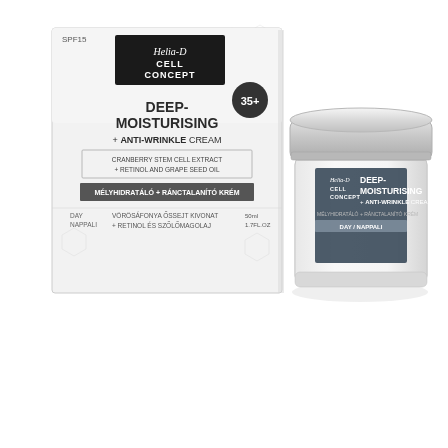[Figure (photo): Product photo showing Helia-D Cell Concept Deep-Moisturising + Anti-Wrinkle Cream 35+ SPF15 packaging box on the left and the actual cream jar on the right. The box is white/light grey with hexagonal pattern design, black brand logo area, and text. The jar is a round white/silver cosmetic container with a silver lid.]